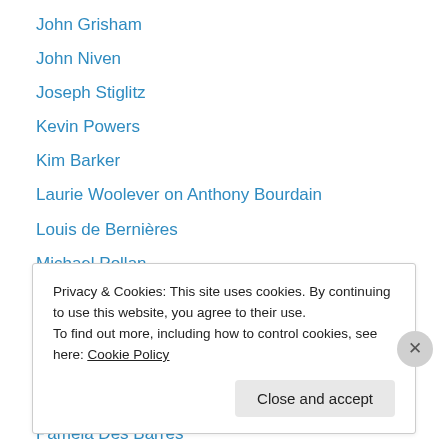John Grisham
John Niven
Joseph Stiglitz
Kevin Powers
Kim Barker
Laurie Woolever on Anthony Bourdain
Louis de Bernières
Michael Pollan
Ned Beauman
Nick Kent
Nikolaos van Dam on Syria
Orhan Pamuk
Pamela Des Barres
Privacy & Cookies: This site uses cookies. By continuing to use this website, you agree to their use.
To find out more, including how to control cookies, see here: Cookie Policy
Close and accept